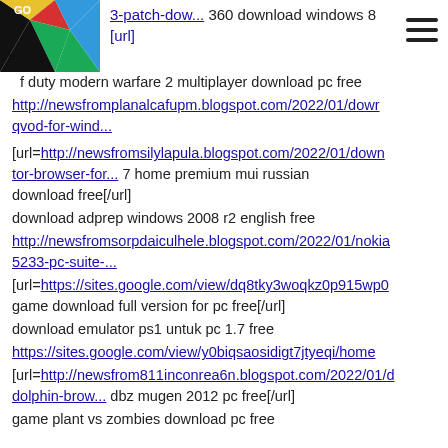GO iTOURISM logo header with navigation
3-patch-dow... 360 download windows 8 [url]
f duty modern warfare 2 multiplayer download pc free
http://newsfromplanalcafupm.blogspot.com/2022/01/dowr qvod-for-wind...
[url=http://newsfromsilylapula.blogspot.com/2022/01/down tor-browser-for... 7 home premium mui russian download free[/url]
download adprep windows 2008 r2 english free
http://newsfromsorpdaiculhele.blogspot.com/2022/01/nokia 5233-pc-suite-...
[url=https://sites.google.com/view/dq8tky3woqkz0p915wp0 game download full version for pc free[/url]
download emulator ps1 untuk pc 1.7 free
https://sites.google.com/view/y0biqsaosidigt7jtyeqi/home
[url=http://newsfrom811inconrea6n.blogspot.com/2022/01/d dolphin-brow... dbz mugen 2012 pc free[/url]
game plant vs zombies download pc free